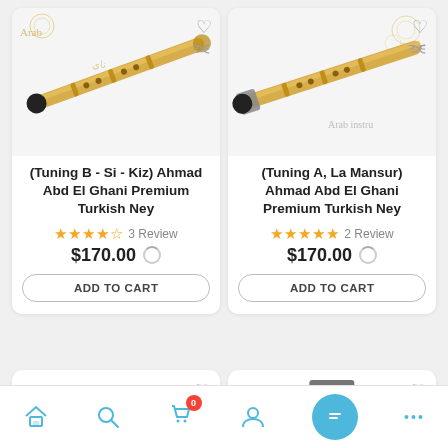[Figure (photo): Bamboo Turkish Ney flute instrument on white background with decorative text]
(Tuning B - Si - Kiz) Ahmad Abd El Ghani Premium Turkish Ney
★★★★½ 3 Review
$170.00
ADD TO CART
[Figure (photo): Bamboo Turkish Ney flute instrument on white background with decorative text]
(Tuning A, La Mansur) Ahmad Abd El Ghani Premium Turkish Ney
★★★★★ 2 Review
$170.00
ADD TO CART